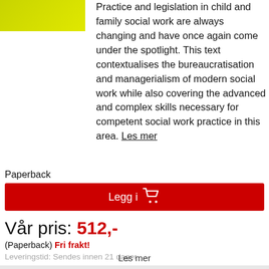[Figure (illustration): Book cover image thumbnail in yellow-green color]
Practice and legislation in child and family social work are always changing and have once again come under the spotlight. This text contextualises the bureaucratisation and managerialism of modern social work while also covering the advanced and complex skills necessary for competent social work practice in this area. Les mer
Paperback
Legg i
Vår pris: 512,-
(Paperback) Fri frakt!
Leveringstid: Sendes innen 21 dager
Les mer